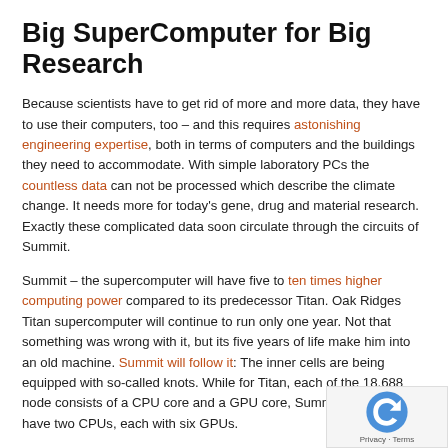Big SuperComputer for Big Research
Because scientists have to get rid of more and more data, they have to use their computers, too – and this requires astonishing engineering expertise, both in terms of computers and the buildings they need to accommodate. With simple laboratory PCs the countless data can not be processed which describe the climate change. It needs more for today's gene, drug and material research. Exactly these complicated data soon circulate through the circuits of Summit.
Summit – the supercomputer will have five to ten times higher computing power compared to its predecessor Titan. Oak Ridges Titan supercomputer will continue to run only one year. Not that something was wrong with it, but its five years of life make him into an old machine. Summit will follow it: The inner cells are being equipped with so-called knots. While for Titan, each of the 18,688 nodes consists of a CPU core and a GPU core, Summit per node will have two CPUs, each with six GPUs.